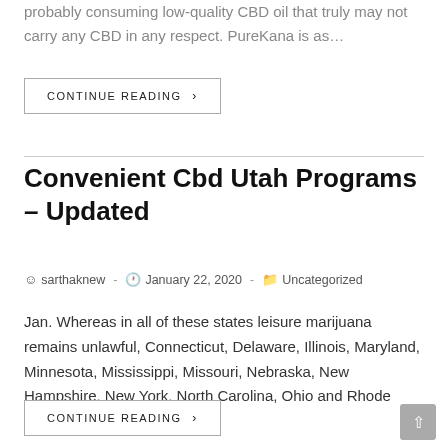probably consuming low-quality CBD oil that truly may not carry any CBD in any respect. PureKana is as…
CONTINUE READING ›
Convenient Cbd Utah Programs – Updated
sarthaknew  -  January 22, 2020  -  Uncategorized
Jan. Whereas in all of these states leisure marijuana remains unlawful, Connecticut, Delaware, Illinois, Maryland, Minnesota, Mississippi, Missouri, Nebraska, New Hampshire, New York, North Carolina, Ohio and Rhode Island have…
CONTINUE READING ›